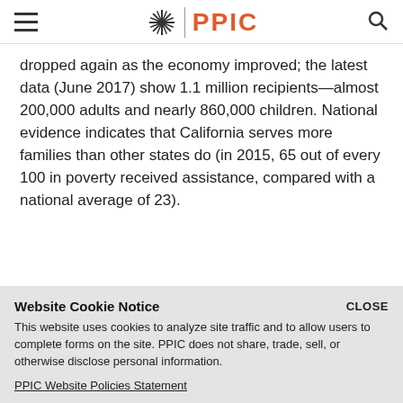PPIC
dropped again as the economy improved; the latest data (June 2017) show 1.1 million recipients—almost 200,000 adults and nearly 860,000 children. National evidence indicates that California serves more families than other states do (in 2015, 65 out of every 100 in poverty received assistance, compared with a national average of 23).
Website Cookie Notice
This website uses cookies to analyze site traffic and to allow users to complete forms on the site. PPIC does not share, trade, sell, or otherwise disclose personal information.
PPIC Website Policies Statement